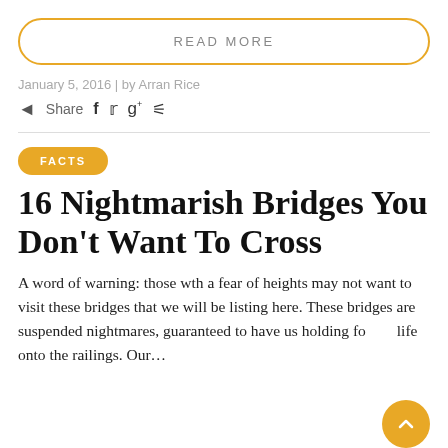READ MORE
January 5, 2016 | by Arran Rice
Share
FACTS
16 Nightmarish Bridges You Don’t Want To Cross
A word of warning: those wth a fear of heights may not want to visit these bridges that we will be listing here. These bridges are suspended nightmares, guaranteed to have us holding for life onto the railings. Our…